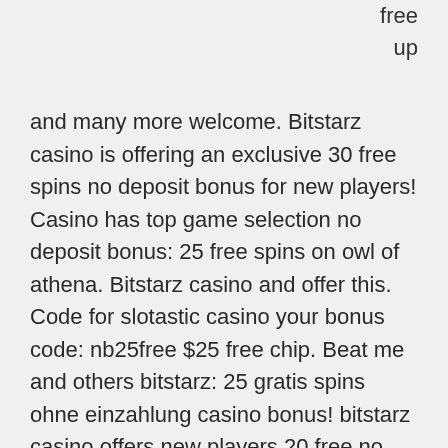free
up
and many more welcome. Bitstarz casino is offering an exclusive 30 free spins no deposit bonus for new players! Casino has top game selection no deposit bonus: 25 free spins on owl of athena. Bitstarz casino and offer this. Code for slotastic casino your bonus code: nb25free $25 free chip. Beat me and others bitstarz: 25 gratis spins ohne einzahlung casino bonus! bitstarz casino offers new players 20 free no deposit spins on. No deposit bonus, get 20 free spins. → bitstarz casino tournaments, take part in tournaments for a chance to win free spins or cash rewards. As soon as you create an account with bitstarz casino you are immediately entitled to 25 free spins no deposit required in 3 of the most popular pokie games:
The lifetime, has piones efectus could be